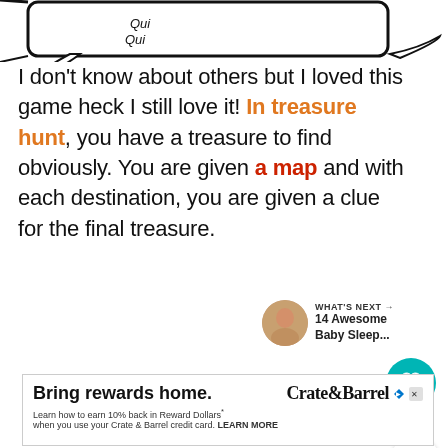[Figure (illustration): Partial view of a cartoon/comic style speech bubble or frame at the top of the page, with some handwritten-style text inside.]
I don't know about others but I loved this game heck I still love it! In treasure hunt, you have a treasure to find obviously. You are given a map and with each destination, you are given a clue for the final treasure.
[Figure (infographic): Like/heart button (teal circle with heart icon), count of 1, and share button (white circle with share icon).]
[Figure (infographic): WHAT'S NEXT section with a thumbnail image and text '14 Awesome Baby Sleep...']
[Figure (infographic): Advertisement banner: 'Bring rewards home. Crate&Barrel. Learn how to earn 10% back in Reward Dollars when you use your Crate & Barrel credit card. LEARN MORE']